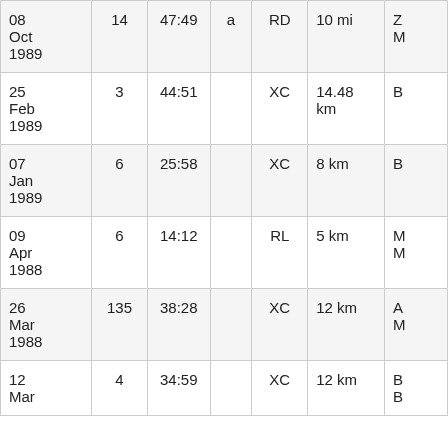| Date | # | Time |  | Type | Distance |  |
| --- | --- | --- | --- | --- | --- | --- |
| 08 Oct 1989 | 14 | 47:49 | a | RD | 10 mi | Z M |
| 25 Feb 1989 | 3 | 44:51 |  | XC | 14.48 km | B |
| 07 Jan 1989 | 6 | 25:58 |  | XC | 8 km | B |
| 09 Apr 1988 | 6 | 14:12 |  | RL | 5 km | M M |
| 26 Mar 1988 | 135 | 38:28 |  | XC | 12 km | A M |
| 12 Mar | 4 | 34:59 |  | XC | 12 km | B B |